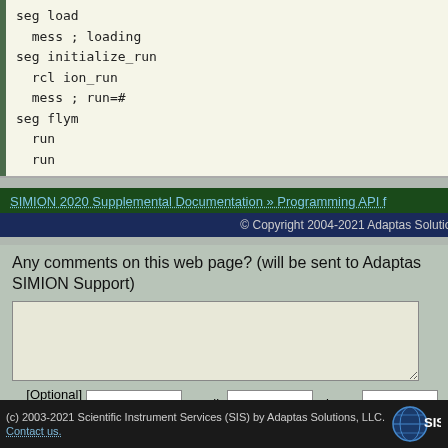seg load
  mess ; loading
seg initialize_run
  rcl ion_run
  mess ; run=#
seg flym
  run
  run
SIMION 2020 Supplemental Documentation » Programming API f
© Copyright 2004-2021 Adaptas Solution
Any comments on this web page? (will be sent to Adaptas SIMION Support)
[Optional] Your name: email: phone:
Send comments to Adaptas
(c) 2003-2021 Scientific Instrument Services (SIS) by Adaptas Solutions, LLC. Contact us.